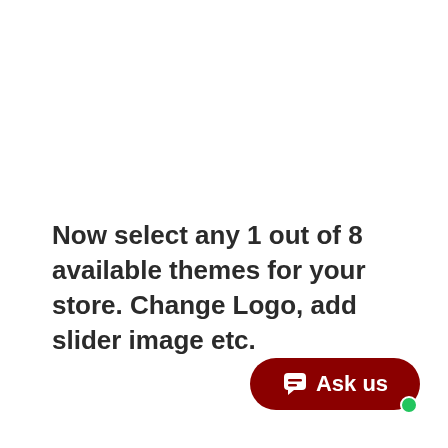Now select any 1 out of 8 available themes for your store. Change Logo, add slider image etc.
[Figure (other): Dark red rounded pill-shaped 'Ask us' chat button with white speech bubble icon and green online indicator dot in the bottom-right corner]